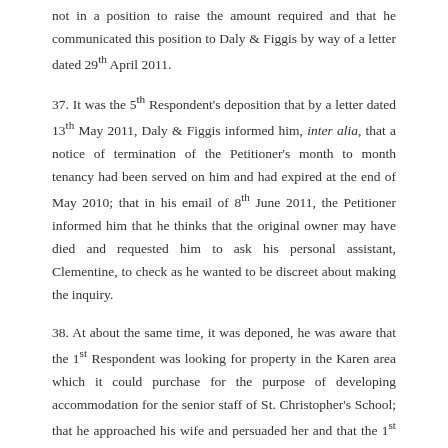not in a position to raise the amount required and that he communicated this position to Daly & Figgis by way of a letter dated 29th April 2011.
37. It was the 5th Respondent's deposition that by a letter dated 13th May 2011, Daly & Figgis informed him, inter alia, that a notice of termination of the Petitioner's month to month tenancy had been served on him and had expired at the end of May 2010; that in his email of 8th June 2011, the Petitioner informed him that he thinks that the original owner may have died and requested him to ask his personal assistant, Clementine, to check as he wanted to be discreet about making the inquiry.
38. At about the same time, it was deponed, he was aware that the 1st Respondent was looking for property in the Karen area which it could purchase for the purpose of developing accommodation for the senior staff of St. Christopher's School; that he approached his wife and persuaded her and that the 1st Respondent should consider purchasing the suit